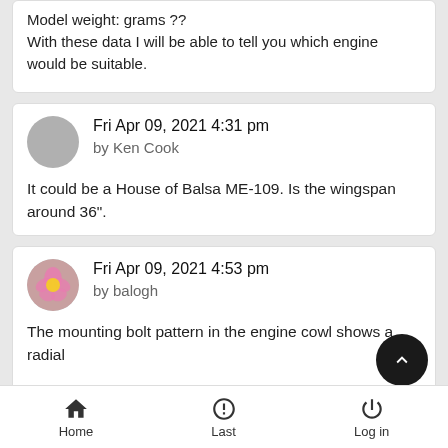Model weight: grams??
With these data I will be able to tell you which engine would be suitable.
Fri Apr 09, 2021 4:31 pm
by Ken Cook
It could be a House of Balsa ME-109. Is the wingspan around 36".
Fri Apr 09, 2021 4:53 pm
by balogh
The mounting bolt pattern in the engine cowl shows a radial
Home    Last    Log in